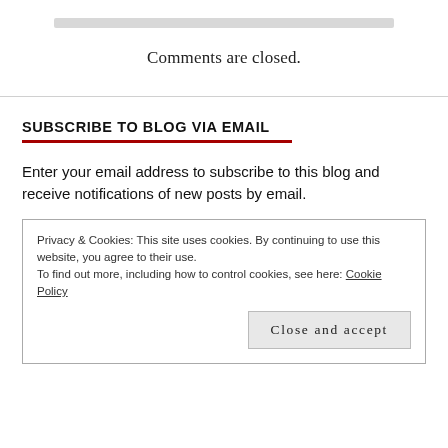Comments are closed.
SUBSCRIBE TO BLOG VIA EMAIL
Enter your email address to subscribe to this blog and receive notifications of new posts by email.
Privacy & Cookies: This site uses cookies. By continuing to use this website, you agree to their use.
To find out more, including how to control cookies, see here: Cookie Policy
Close and accept